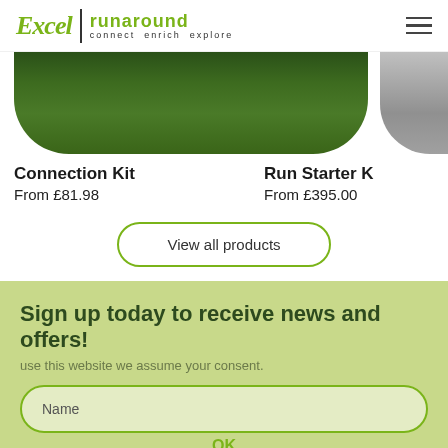Excel | runaround connect enrich explore
[Figure (photo): Cropped image of grass/greenery product photo (Connection Kit) and partial grey image (Run Starter Kit) in carousel]
Connection Kit
From £81.98
Run Starter K...
From £395.00
View all products
Sign up today to receive news and offers!
use this website we assume your consent.
Name
OK
Email